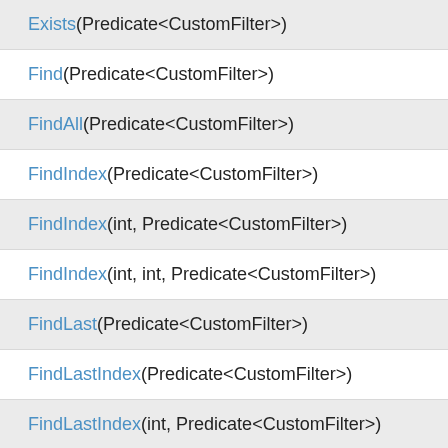Exists(Predicate<CustomFilter>)
Find(Predicate<CustomFilter>)
FindAll(Predicate<CustomFilter>)
FindIndex(Predicate<CustomFilter>)
FindIndex(int, Predicate<CustomFilter>)
FindIndex(int, int, Predicate<CustomFilter>)
FindLast(Predicate<CustomFilter>)
FindLastIndex(Predicate<CustomFilter>)
FindLastIndex(int, Predicate<CustomFilter>)